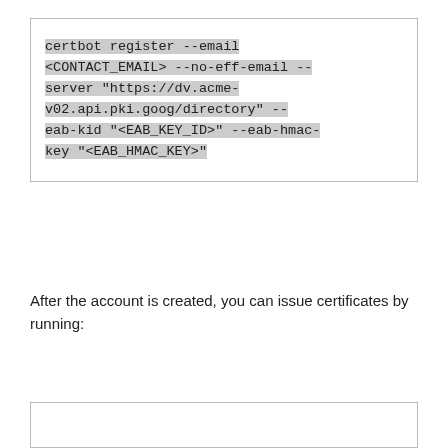certbot register --email <CONTACT_EMAIL> --no-eff-email --server "https://dv.acme-v02.api.pki.goog/directory"  --eab-kid "<EAB_KEY_ID>" --eab-hmac-key "<EAB_HMAC_KEY>"
After the account is created, you can issue certificates by running: